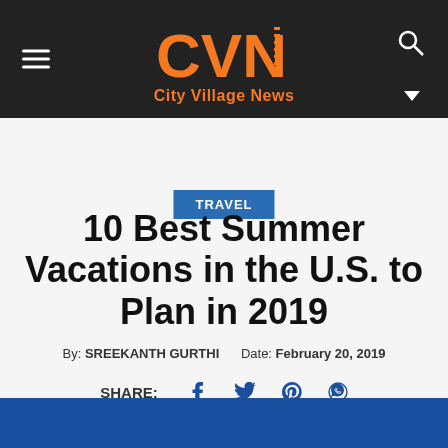City Village News
TRAVEL
10 Best Summer Vacations in the U.S. to Plan in 2019
By: SREEKANTH GURTHI   Date:  February 20, 2019
SHARE: